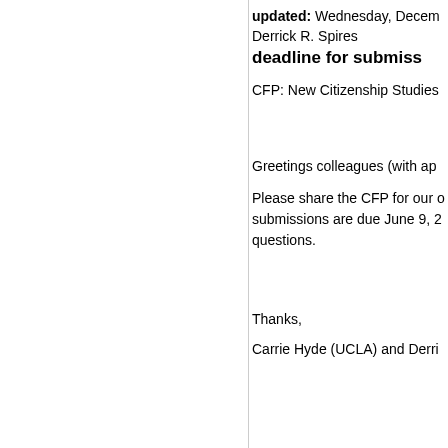updated: Wednesday, Decem
Derrick R. Spires
deadline for submiss
CFP: New Citizenship Studies
Greetings colleagues (with ap
Please share the CFP for our o submissions are due June 9, 2 questions.
Thanks,
Carrie Hyde (UCLA) and Derri